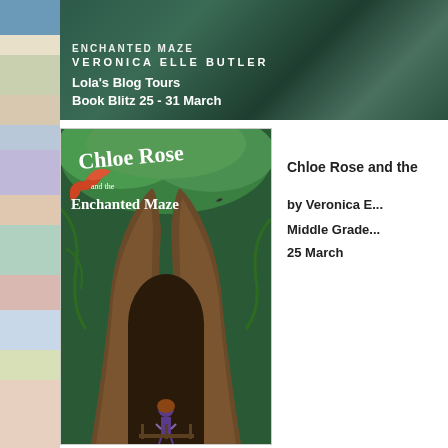[Figure (illustration): Top banner for book blitz: dark green background with white text showing 'ENCHANTED MAZE' partially visible at top, 'VERONICA ELLE BUTLER' in large uppercase letters, and 'Lola's Blog Tours / Book Blitz 25 - 31 March']
[Figure (illustration): Book cover for 'Chloe Rose and the Enchanted Maze' by Veronica Elle Butler. Cover shows an enchanted forest with a large tree trunk forming an archway, a small girl in purple standing at the entrance, surrounded by green foliage and vines. Title text in white handwritten-style font.]
Chloe Rose and the
by Veronica B.
Middle Grade
25 March